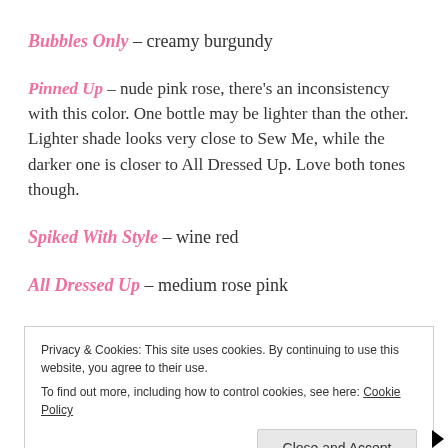Bubbles Only – creamy burgundy
Pinned Up – nude pink rose, there's an inconsistency with this color. One bottle may be lighter than the other. Lighter shade looks very close to Sew Me, while the darker one is closer to All Dressed Up. Love both tones though.
Spiked With Style – wine red
All Dressed Up – medium rose pink
Privacy & Cookies: This site uses cookies. By continuing to use this website, you agree to their use. To find out more, including how to control cookies, see here: Cookie Policy